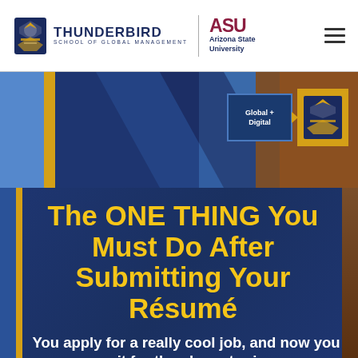[Figure (logo): Thunderbird School of Global Management logo with thunderbird icon and text]
[Figure (logo): ASU Arizona State University logo in maroon and navy]
[Figure (illustration): Hero banner with blue and orange geometric background panels and Global + Digital badge with Thunderbird icon]
The ONE THING You Must Do After Submitting Your Résumé
You apply for a really cool job, and now you wait for the phone to ring